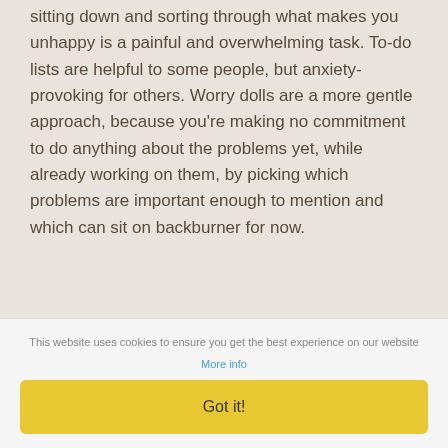sitting down and sorting through what makes you unhappy is a painful and overwhelming task. To-do lists are helpful to some people, but anxiety-provoking for others. Worry dolls are a more gentle approach, because you're making no commitment to do anything about the problems yet, while already working on them, by picking which problems are important enough to mention and which can sit on backburner for now.
Grounding